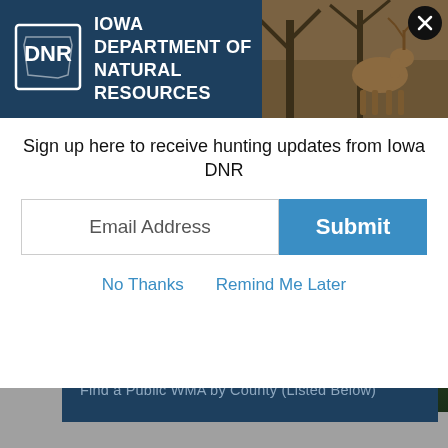[Figure (screenshot): Iowa DNR website screenshot showing a popup modal over a page about public hunting areas. The modal has a blue header banner with the DNR logo and 'Iowa Department of Natural Resources' text, a deer photo in the top-right corner with a close button, an email signup form with 'Email Address' input and blue 'Submit' button, and 'No Thanks' / 'Remind Me Later' links. Below the modal the page shows dark navy blue button bars for 'Find a Public WMA by County (Listed Below)' and 'Hunting Atlas - Interactive Map of Iowa's Public Hunting L...' on a gray background, plus a text paragraph about the DNR's Wildlife Bureau.]
Sign up here to receive hunting updates from Iowa DNR
Email Address
Submit
No Thanks
Remind Me Later
Find a Public WMA by County (Listed Below)
Hunting Atlas - Interactive Map of Iowa's Public Hunting L
The DNR's Wildlife Bureau manages over 390,000 acres that are available for public recreational use every day of the year. All of these areas are managed with revenues from the sale of hunting, fishing, and trapping licenses that are purchased by resident and non-residents. These state revenues are supplemented with Federal Sport Fish